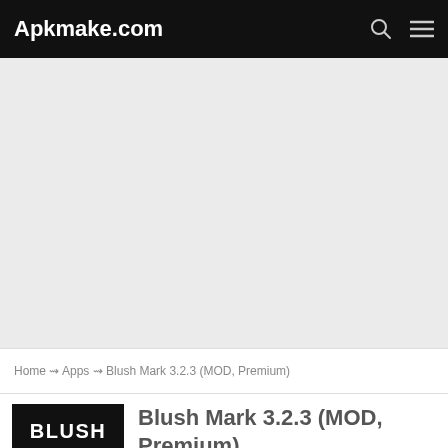Apkmake.com
[Figure (other): Gray advertisement placeholder area]
Home ~> Apps ~> Blush Mark 3.2.3 (MOD, Premium)
[Figure (logo): Blush Mark app icon — black background with white bold text BLUSH]
Blush Mark 3.2.3 (MOD, Premium)